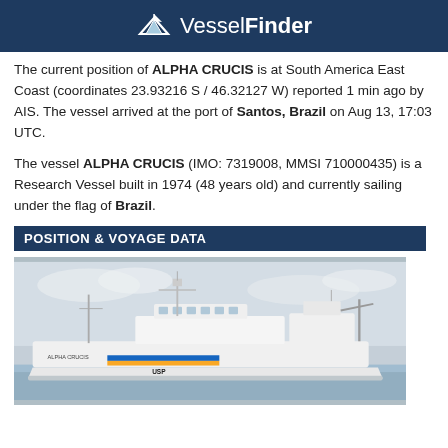VesselFinder
The current position of ALPHA CRUCIS is at South America East Coast (coordinates 23.93216 S / 46.32127 W) reported 1 min ago by AIS. The vessel arrived at the port of Santos, Brazil on Aug 13, 17:03 UTC.
The vessel ALPHA CRUCIS (IMO: 7319008, MMSI 710000435) is a Research Vessel built in 1974 (48 years old) and currently sailing under the flag of Brazil.
POSITION & VOYAGE DATA
[Figure (photo): Photograph of the research vessel ALPHA CRUCIS, a white ship with blue and yellow stripe markings, photographed from the port side against an overcast sky.]